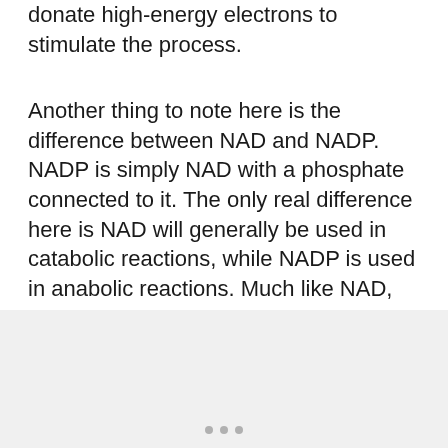donate high-energy electrons to stimulate the process.
Another thing to note here is the difference between NAD and NADP. NADP is simply NAD with a phosphate connected to it. The only real difference here is NAD will generally be used in catabolic reactions, while NADP is used in anabolic reactions. Much like NAD, you'll find NADP in both NADP+ and NADPH.